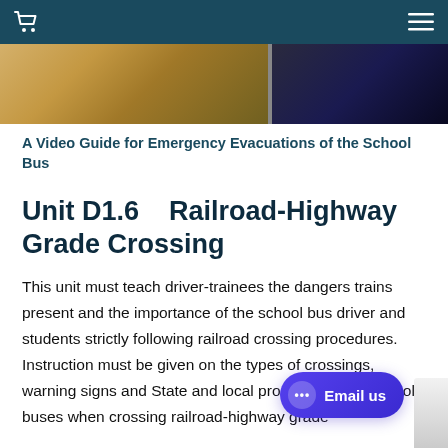[Figure (photo): Navigation bar with shopping cart icon on left and hamburger menu icon on right, dark teal background]
[Figure (photo): Photo strip showing school bus scene, partially visible at top of page below nav bar]
A Video Guide for Emergency Evacuations of the School Bus
Unit D1.6    Railroad-Highway Grade Crossing
This unit must teach driver-trainees the dangers trains present and the importance of the school bus driver and students strictly following railroad crossing procedures. Instruction must be given on the types of crossings, warning signs and State and local procedures and school buses when crossing railroad-highway grade